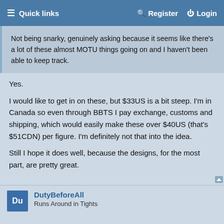Quick links | Register | Login
Not being snarky, genuinely asking because it seems like there's a lot of these almost MOTU things going on and I haven't been able to keep track.
Yes.

I would like to get in on these, but $33US is a bit steep. I'm in Canada so even through BBTS I pay exchange, customs and shipping, which would easily make these over $40US (that's $51CDN) per figure. I'm definitely not that into the idea.

Still I hope it does well, because the designs, for the most part, are pretty great.
DutyBeforeAll
Runs Around in Tights